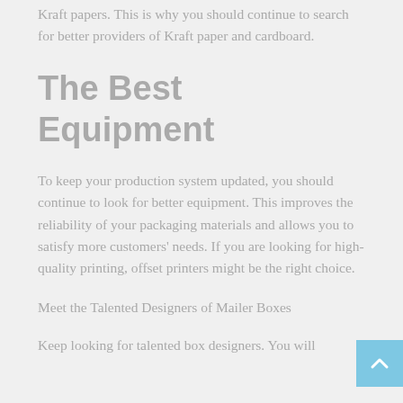Kraft papers. This is why you should continue to search for better providers of Kraft paper and cardboard.
The Best Equipment
To keep your production system updated, you should continue to look for better equipment. This improves the reliability of your packaging materials and allows you to satisfy more customers' needs. If you are looking for high-quality printing, offset printers might be the right choice.
Meet the Talented Designers of Mailer Boxes
Keep looking for talented box designers. You will